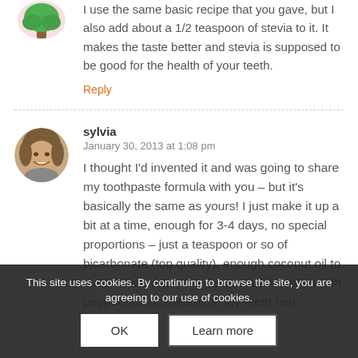[Figure (illustration): Tree avatar icon - cartoon green tree on brown trunk with pink circle background, partially cropped at top]
I use the same basic recipe that you gave, but I also add about a 1/2 teaspoon of stevia to it. It makes the taste better and stevia is supposed to be good for the health of your teeth.
Reply
[Figure (photo): Circular avatar photo of a woman with short brown hair, smiling]
sylvia
January 30, 2013 at 1:08 pm
I thought I’d invented it and was going to share my toothpaste formula with you – but it’s basically the same as yours! I just make it up a bit at a time, enough for 3-4 days, no special proportions – just a teaspoon or so of bicarbonate (top quality), enough coconut oil to make a paste and I’ve been experimenting with peppermint or spearmint. My teeth feel
This site uses cookies. By continuing to browse the site, you are agreeing to our use of cookies.
OK
Learn more